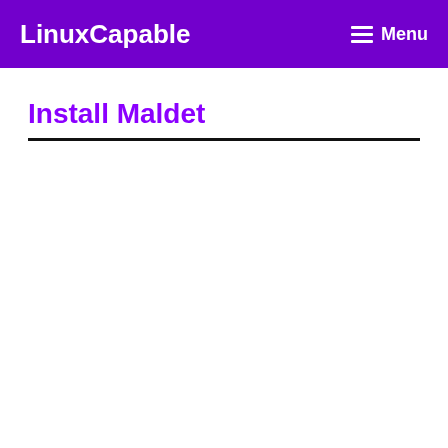LinuxCapable   ☰ Menu
Install Maldet